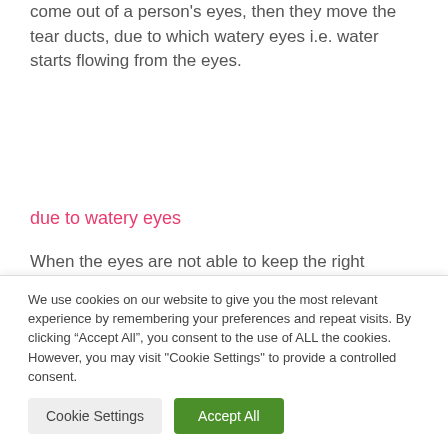come out of a person's eyes, then they move the tear ducts, due to which watery eyes i.e. water starts flowing from the eyes.
due to watery eyes
When the eyes are not able to keep the right balance of water, salt and oil, the essential elements of the eyes, then they become extremely dry. As a result
We use cookies on our website to give you the most relevant experience by remembering your preferences and repeat visits. By clicking “Accept All”, you consent to the use of ALL the cookies. However, you may visit "Cookie Settings" to provide a controlled consent.